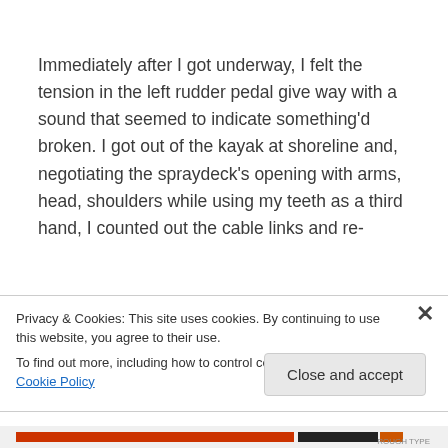Immediately after I got underway, I felt the tension in the left rudder pedal give way with a sound that seemed to indicate something'd broken. I got out of the kayak at shoreline and, negotiating the spraydeck's opening with arms, head, shoulders while using my teeth as a third hand, I counted out the cable links and re-
Privacy & Cookies: This site uses cookies. By continuing to use this website, you agree to their use.
To find out more, including how to control cookies, see here: Cookie Policy